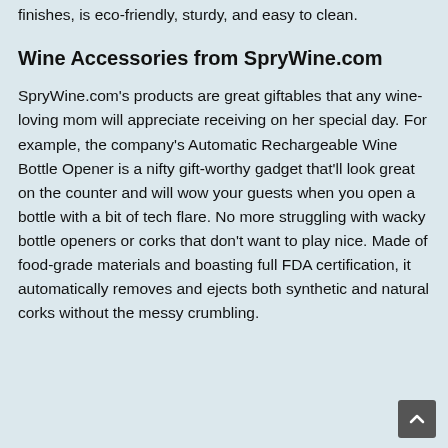finishes, is eco-friendly, sturdy, and easy to clean.
Wine Accessories from SpryWine.com
SpryWine.com's products are great giftables that any wine-loving mom will appreciate receiving on her special day. For example, the company's Automatic Rechargeable Wine Bottle Opener is a nifty gift-worthy gadget that'll look great on the counter and will wow your guests when you open a bottle with a bit of tech flare. No more struggling with wacky bottle openers or corks that don't want to play nice. Made of food-grade materials and boasting full FDA certification, it automatically removes and ejects both synthetic and natural corks without the messy crumbling.